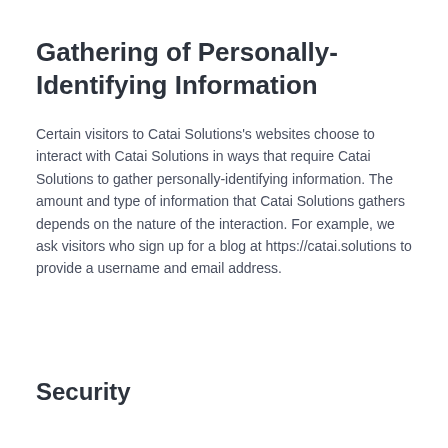Gathering of Personally-Identifying Information
Certain visitors to Catai Solutions's websites choose to interact with Catai Solutions in ways that require Catai Solutions to gather personally-identifying information. The amount and type of information that Catai Solutions gathers depends on the nature of the interaction. For example, we ask visitors who sign up for a blog at https://catai.solutions to provide a username and email address.
Security